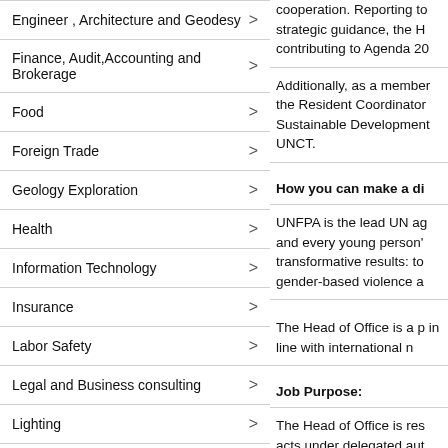Engineer , Architecture and Geodesy
Finance, Audit,Accounting and Brokerage
Food
Foreign Trade
Geology Exploration
Health
Information Technology
Insurance
Labor Safety
Legal and Business consulting
Lighting
Mining equipment
Mining Services
Other product and service
Road
cooperation. Reporting to strategic guidance, the H contributing to Agenda 20
Additionally, as a member the Resident Coordinator Sustainable Development UNCT.
How you can make a di
UNFPA is the lead UN ag and every young person' transformative results: to gender-based violence a
The Head of Office is a p in line with international n
Job Purpose:
The Head of Office is res acts under delegated aut for the achievement of U